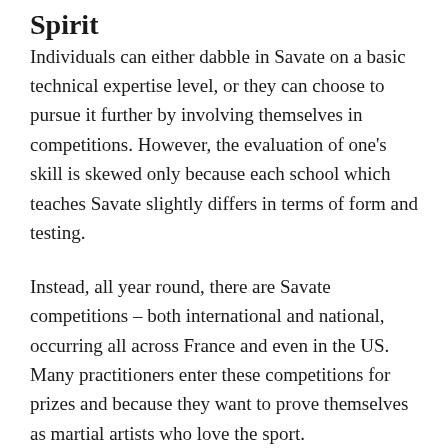Spirit
Individuals can either dabble in Savate on a basic technical expertise level, or they can choose to pursue it further by involving themselves in competitions. However, the evaluation of one's skill is skewed only because each school which teaches Savate slightly differs in terms of form and testing.
Instead, all year round, there are Savate competitions – both international and national, occurring all across France and even in the US. Many practitioners enter these competitions for prizes and because they want to prove themselves as martial artists who love the sport.